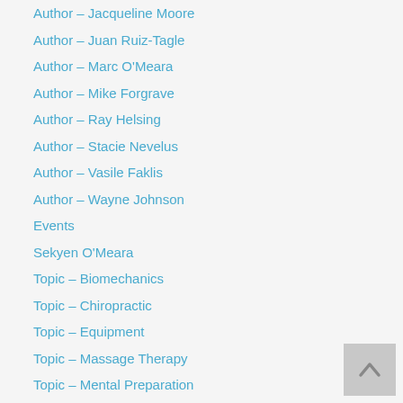Author – Jacqueline Moore
Author – Juan Ruiz-Tagle
Author – Marc O'Meara
Author – Mike Forgrave
Author – Ray Helsing
Author – Stacie Nevelus
Author – Vasile Faklis
Author – Wayne Johnson
Events
Sekyen O'Meara
Topic – Biomechanics
Topic – Chiropractic
Topic – Equipment
Topic – Massage Therapy
Topic – Mental Preparation
Topic – Motivation
Topic – Nutrition